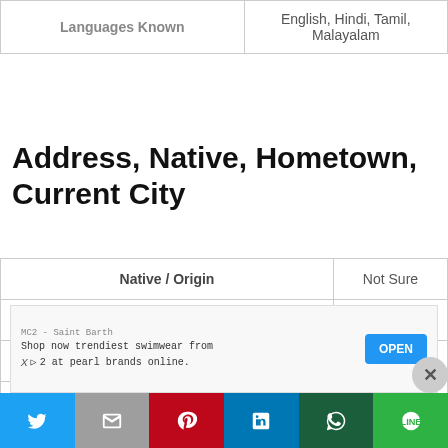| Languages Known |  |
| --- | --- |
| Languages Known | English, Hindi, Tamil, Malayalam |
Address, Native, Hometown, Current City
|  |  |
| --- | --- |
| Native / Origin | Not Sure |
| Home Town | Kerala |
| Vanditha Manoharan's Current City | Cochin |
| Address |  |